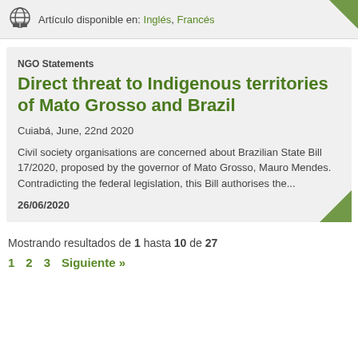Artículo disponible en: Inglés, Francés
NGO Statements
Direct threat to Indigenous territories of Mato Grosso and Brazil
Cuiabá, June, 22nd 2020
Civil society organisations are concerned about Brazilian State Bill 17/2020, proposed by the governor of Mato Grosso, Mauro Mendes. Contradicting the federal legislation, this Bill authorises the...
26/06/2020
Mostrando resultados de 1 hasta 10 de 27
1  2  3  Siguiente »